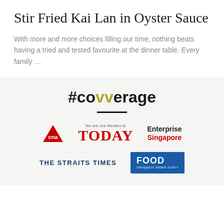Stir Fried Kai Lan in Oyster Sauce
With more and more choices filling our time, nothing beats having a tried and tested favourite at the dinner table. Every family …
[Figure (infographic): #covverage section with media logos: CNA, TODAY, Enterprise Singapore, The Straits Times, Food navigator-latam.com]